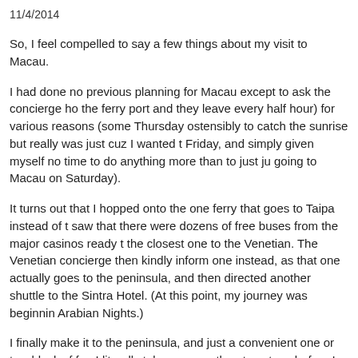11/4/2014
So, I feel compelled to say a few things about my visit to Macau.
I had done no previous planning for Macau except to ask the concierge ho the ferry port and they leave every half hour) for various reasons (some Thursday ostensibly to catch the sunrise but really was just cuz I wanted t Friday, and simply given myself no time to do anything more than to just ju going to Macau on Saturday).
It turns out that I hopped onto the one ferry that goes to Taipa instead of t saw that there were dozens of free buses from the major casinos ready t the closest one to the Venetian. The Venetian concierge then kindly inform one instead, as that one actually goes to the peninsula, and then directed another shuttle to the Sintra Hotel. (At this point, my journey was beginnin Arabian Nights.)
I finally make it to the peninsula, and just a convenient one or two blocks f for. I literally take no more than ten steps before I end up loaded down wi